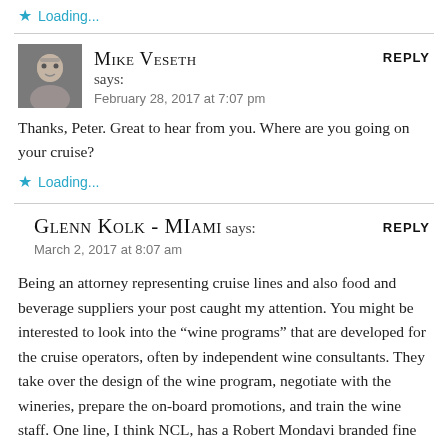Loading...
Mike Veseth says:
February 28, 2017 at 7:07 pm
Thanks, Peter. Great to hear from you. Where are you going on your cruise?
Loading...
Glenn Kolk - Miami says:
March 2, 2017 at 8:07 am
Being an attorney representing cruise lines and also food and beverage suppliers your post caught my attention. You might be interested to look into the “wine programs” that are developed for the cruise operators, often by independent wine consultants. They take over the design of the wine program, negotiate with the wineries, prepare the on-board promotions, and train the wine staff. One line, I think NCL, has a Robert Mondavi branded fine wine room on one of their newer ships. The cruise line